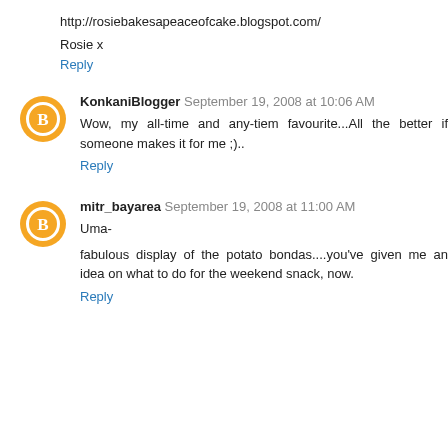http://rosiebakesapeaceofcake.blogspot.com/
Rosie x
Reply
KonkaniBlogger  September 19, 2008 at 10:06 AM
Wow, my all-time and any-tiem favourite...All the better if someone makes it for me ;)..
Reply
mitr_bayarea  September 19, 2008 at 11:00 AM
Uma-
fabulous display of the potato bondas....you've given me an idea on what to do for the weekend snack, now.
Reply